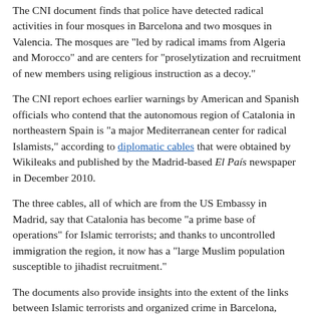The CNI document finds that police have detected radical activities in four mosques in Barcelona and two mosques in Valencia. The mosques are "led by radical imams from Algeria and Morocco" and are centers for "proselytization and recruitment of new members using religious instruction as a decoy."
The CNI report echoes earlier warnings by American and Spanish officials who contend that the autonomous region of Catalonia in northeastern Spain is "a major Mediterranean center for radical Islamists," according to diplomatic cables that were obtained by Wikileaks and published by the Madrid-based El País newspaper in December 2010.
The three cables, all of which are from the US Embassy in Madrid, say that Catalonia has become "a prime base of operations" for Islamic terrorists; and thanks to uncontrolled immigration the region, it now has a "large Muslim population susceptible to jihadist recruitment."
The documents also provide insights into the extent of the links between Islamic terrorists and organized crime in Barcelona, which the cables call a "crossroads of worrisome activities." The problem is so grave that the United States has proposed setting up an intelligence hub at the U.S. Consulate in Barcelona to counter the growing threat.